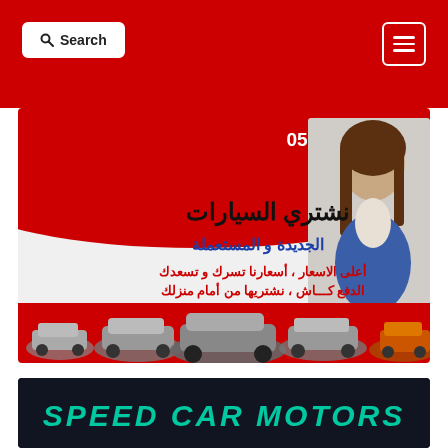Search | Navigation menu
[Figure (illustration): Car dealership advertisement banner in Arabic. Red background at top with phone number 05 88 99 4287. Arabic text: نشتري السيارات (We buy cars), الجديدة و المستعملة (new and used), أعلى الأسعار، أسعارنا تسرك و تسعدك الدفع كاش، نشتريها من أمام منزلك (Highest prices, our prices please you, cash payment, we buy from in front of your home). Woman in blue blazer on right side. Row of cars at bottom on red background.]
[Figure (illustration): Speed Car Motors banner with teal/green text on dark background, partially visible at bottom of page.]